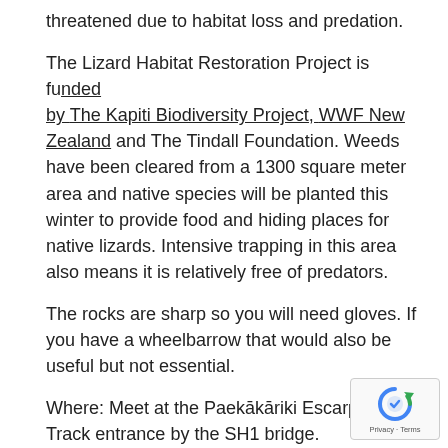threatened due to habitat loss and predation.
The Lizard Habitat Restoration Project is funded by The Kapiti Biodiversity Project, WWF New Zealand and The Tindall Foundation. Weeds have been cleared from a 1300 square meter area and native species will be planted this winter to provide food and hiding places for native lizards. Intensive trapping in this area also means it is relatively free of predators.
The rocks are sharp so you will need gloves. If you have a wheelbarrow that would also be useful but not essential.
Where: Meet at the Paekākāriki Escarpment Track entrance by the SH1 bridge.
When: 9.45am on Sunday 25th February.
[Figure (other): reCAPTCHA widget with circular arrow icon and Privacy · Terms text]